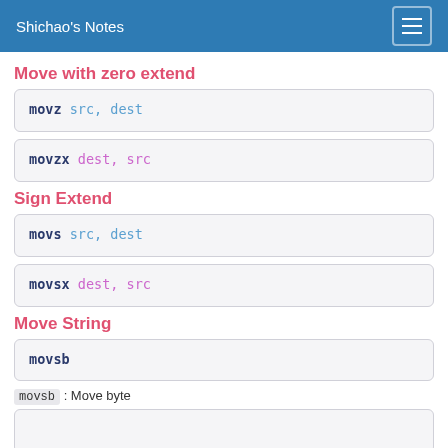Shichao's Notes
Move with zero extend
Sign Extend
Move String
movsb : Move byte